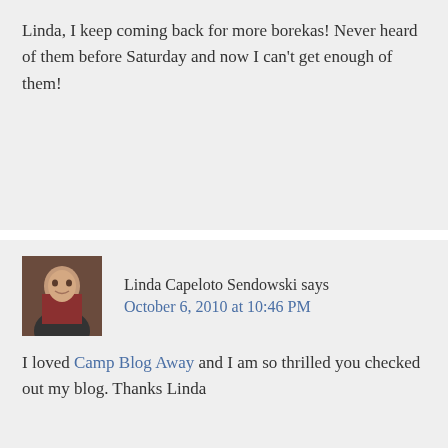Linda, I keep coming back for more borekas! Never heard of them before Saturday and now I can't get enough of them!
Linda Capeloto Sendowski says October 6, 2010 at 10:46 PM
I loved Camp Blog Away and I am so thrilled you checked out my blog. Thanks Linda